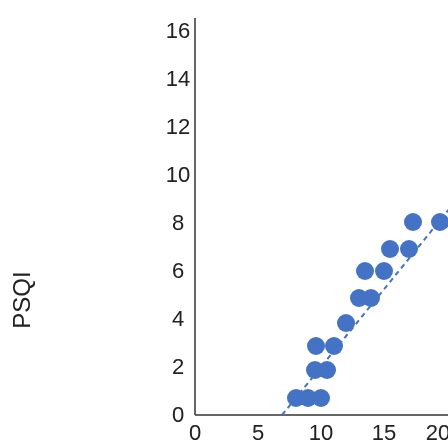[Figure (continuous-plot): Scatter plot with dotted trend line showing relationship between an x-axis variable (range 0-20+) and PSQI (y-axis, range 0-16). Data points are blue filled circles clustered in the range x=8-20, y=0-8, with a positive linear dotted trend line.]